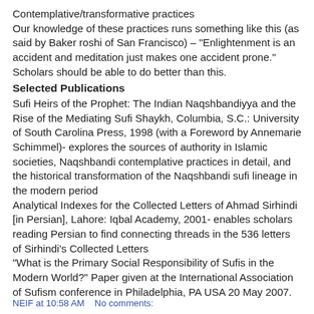Contemplative/transformative practices
Our knowledge of these practices runs something like this (as said by Baker roshi of San Francisco) – "Enlightenment is an accident and meditation just makes one accident prone." Scholars should be able to do better than this.
Selected Publications
Sufi Heirs of the Prophet: The Indian Naqshbandiyya and the Rise of the Mediating Sufi Shaykh, Columbia, S.C.: University of South Carolina Press, 1998 (with a Foreword by Annemarie Schimmel)- explores the sources of authority in Islamic societies, Naqshbandi contemplative practices in detail, and the historical transformation of the Naqshbandi sufi lineage in the modern period
Analytical Indexes for the Collected Letters of Ahmad Sirhindi [in Persian], Lahore: Iqbal Academy, 2001- enables scholars reading Persian to find connecting threads in the 536 letters of Sirhindi's Collected Letters
"What is the Primary Social Responsibility of Sufis in the Modern World?" Paper given at the International Association of Sufism conference in Philadelphia, PA USA 20 May 2007.
NEIF at 10:58 AM    No comments: